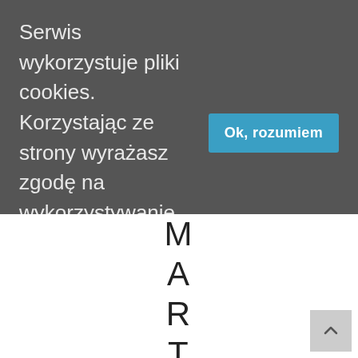Serwis wykorzystuje pliki cookies. Korzystając ze strony wyrażasz zgodę na wykorzystywanie plików cookies. dowiedz się więcej.
Ok, rozumiem
M A R T A
[Figure (other): Back to top button with upward chevron arrow]